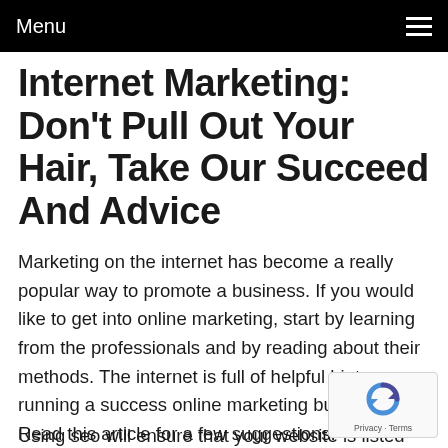Menu
Internet Marketing: Don't Pull Out Your Hair, Take Our Succeed And Advice
Marketing on the internet has become a really popular way to promote a business. If you would like to get into online marketing, start by learning from the professionals and by reading about their methods. The internet is full of helpful hints on running a success online marketing business. Read this article for a few suggestions.
Using seo will ensure that your website is listed